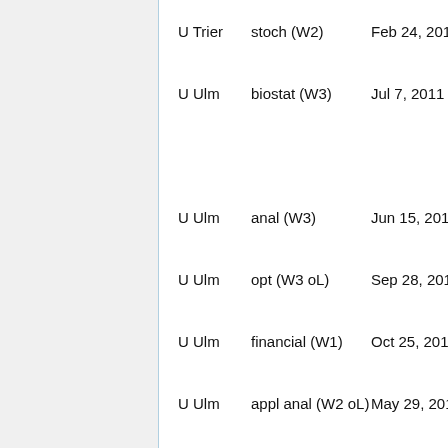| University | Type | Date |
| --- | --- | --- |
| U Trier | stoch (W2) | Feb 24, 2014 |
| U Ulm | biostat (W3) | Jul 7, 2011 |
| U Ulm | anal (W3) | Jun 15, 2012 |
| U Ulm | opt (W3 oL) | Sep 28, 2011 |
| U Ulm | financial (W1) | Oct 25, 2012 |
| U Ulm | appl anal (W2 oL) | May 29, 2014 |